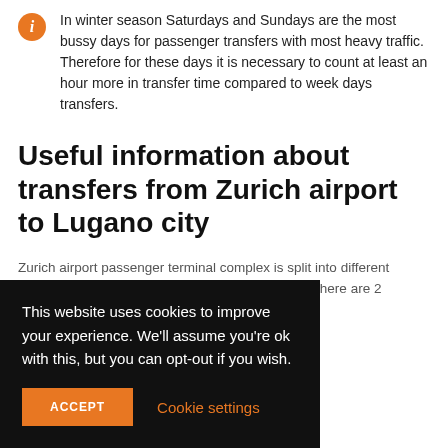In winter season Saturdays and Sundays are the most bussy days for passenger transfers with most heavy traffic. Therefore for these days it is necessary to count at least an hour more in transfer time compared to week days transfers.
Useful information about transfers from Zurich airport to Lugano city
Zurich airport passenger terminal complex is split into different 'check ins', 'arrivals' and 'departure docks/gates'. There are 2 arrivals, s. Learn more
This website uses cookies to improve your experience. We'll assume you're ok with this, but you can opt-out if you wish.